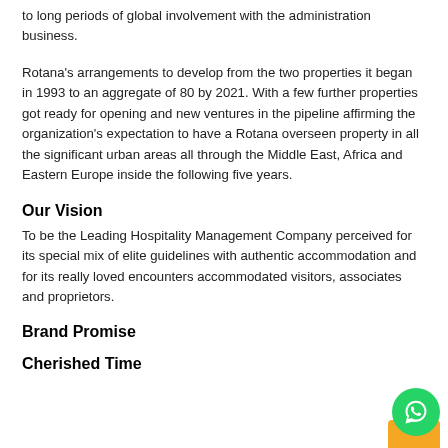to long periods of global involvement with the administration business.
Rotana's arrangements to develop from the two properties it began in 1993 to an aggregate of 80 by 2021. With a few further properties got ready for opening and new ventures in the pipeline affirming the organization's expectation to have a Rotana overseen property in all the significant urban areas all through the Middle East, Africa and Eastern Europe inside the following five years.
Our Vision
To be the Leading Hospitality Management Company perceived for its special mix of elite guidelines with authentic accommodation and for its really loved encounters accommodated visitors, associates and proprietors.
Brand Promise
Cherished Time